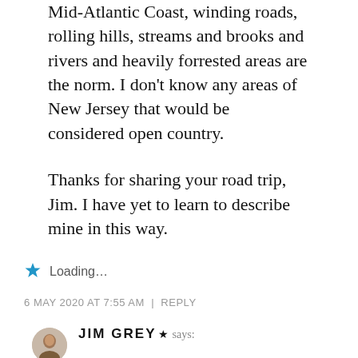Mid-Atlantic Coast, winding roads, rolling hills, streams and brooks and rivers and heavily forrested areas are the norm. I don't know any areas of New Jersey that would be considered open country.
Thanks for sharing your road trip, Jim. I have yet to learn to describe mine in this way.
Loading...
6 MAY 2020 AT 7:55 AM | REPLY
JIM GREY says:
I haven't been to NJ in probably 30 years but I do remember how